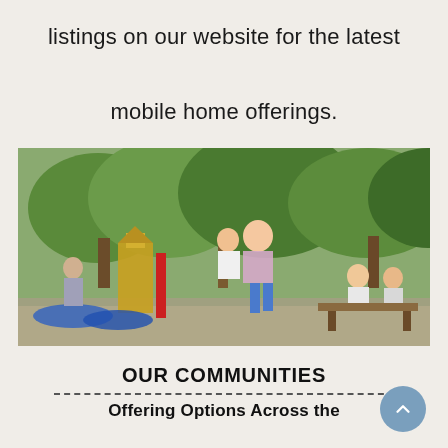listings on our website for the latest mobile home offerings.
[Figure (photo): Children playing outdoors at a playground; a girl in a plaid shirt and denim shorts runs and laughs in the foreground, with other children visible in the background among trees and playground equipment.]
OUR COMMUNITIES
Offering Options Across the